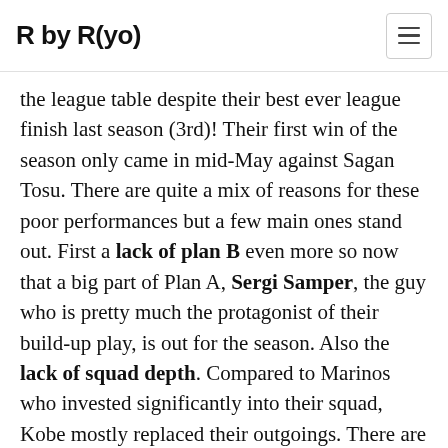R by R(yo)
the league table despite their best ever league finish last season (3rd)! Their first win of the season only came in mid-May against Sagan Tosu. There are quite a mix of reasons for these poor performances but a few main ones stand out. First a lack of plan B even more so now that a big part of Plan A, Sergi Samper, the guy who is pretty much the protagonist of their build-up play, is out for the season. Also the lack of squad depth. Compared to Marinos who invested significantly into their squad, Kobe mostly replaced their outgoings. There are still clear lack of backups at Full Back, square-pegs-in-round-holes (Takahiro Ogihara and Koya Yuruki filling unfamiliar roles in a midfield